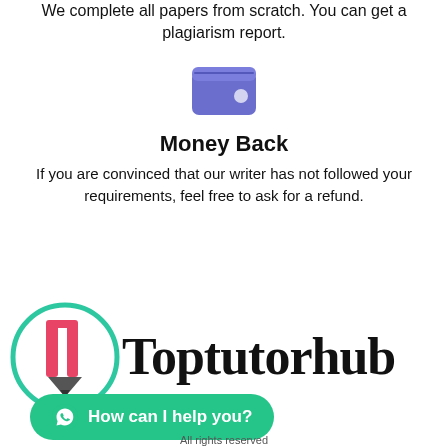We complete all papers from scratch. You can get a plagiarism report.
[Figure (illustration): Blue wallet icon]
Money Back
If you are convinced that our writer has not followed your requirements, feel free to ask for a refund.
[Figure (logo): Toptutorhub logo with pencil icon in circle and bold serif text]
How can I help you?
All rights reserved